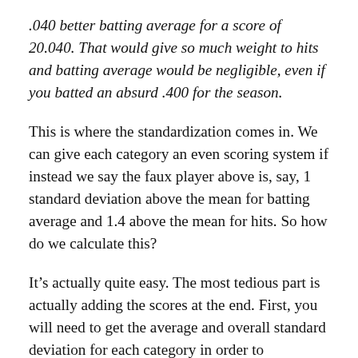.040 better batting average for a score of 20.040. That would give so much weight to hits and batting average would be negligible, even if you batted an absurd .400 for the season.
This is where the standardization comes in. We can give each category an even scoring system if instead we say the faux player above is, say, 1 standard deviation above the mean for batting average and 1.4 above the mean for hits. So how do we calculate this?
It’s actually quite easy. The most tedious part is actually adding the scores at the end. First, you will need to get the average and overall standard deviation for each category in order to